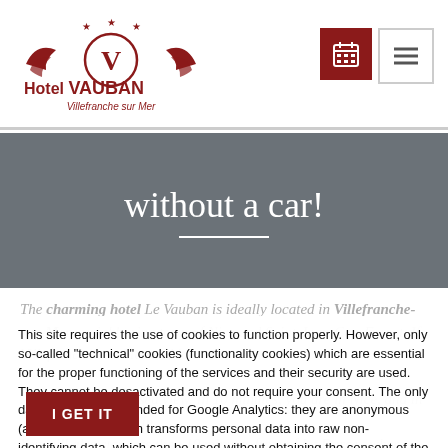Hotel VAUBAN — Villefranche sur Mer
without a car!
The charming hotel Le Vauban is ideally located in Villefranche-sur-Mer , neighboring town of Nice and Saint-Jean-Cap-Ferrat. If Villefranche-sur-Mer and its...
This site requires the use of cookies to function properly. However, only so-called "technical" cookies (functionality cookies) which are essential for the proper functioning of the services and their security are used. They cannot be desactivated and do not require your consent. The only data collected is intended for Google Analytics: they are anonymous (anonymization which transforms personal data into raw non-identifying data, which can be used without obtaining the consent of the users from which it originates).
I GET IT